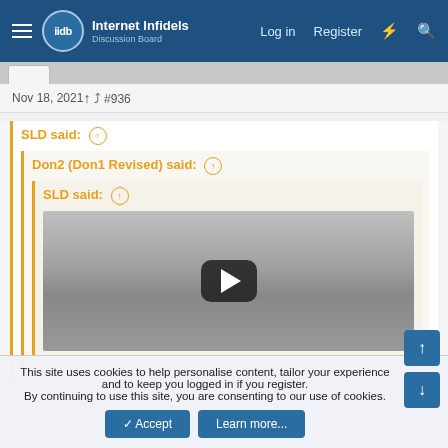Internet Infidels — Log in  Register
Nov 18, 2021  #936
SLD said: ↑
Don2 (Don1 Revised) said: ↑
SLD said: ↑
[Figure (screenshot): YouTube video thumbnail (grayscale) with play button]
This site uses cookies to help personalise content, tailor your experience and to keep you logged in if you register. By continuing to use this site, you are consenting to our use of cookies.